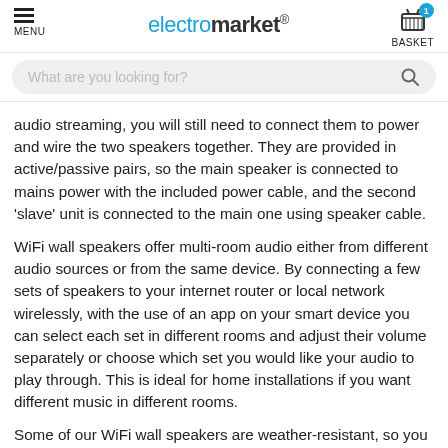MENU | electromarket® | BASKET
What are you looking for?
audio streaming, you will still need to connect them to power and wire the two speakers together. They are provided in active/passive pairs, so the main speaker is connected to mains power with the included power cable, and the second 'slave' unit is connected to the main one using speaker cable.
WiFi wall speakers offer multi-room audio either from different audio sources or from the same device. By connecting a few sets of speakers to your internet router or local network wirelessly, with the use of an app on your smart device you can select each set in different rooms and adjust their volume separately or choose which set you would like your audio to play through. This is ideal for home installations if you want different music in different rooms.
Some of our WiFi wall speakers are weather-resistant, so you can set them up in a garden, kitchen or bathroom without worrying about the conditions — making them ideal for installations...